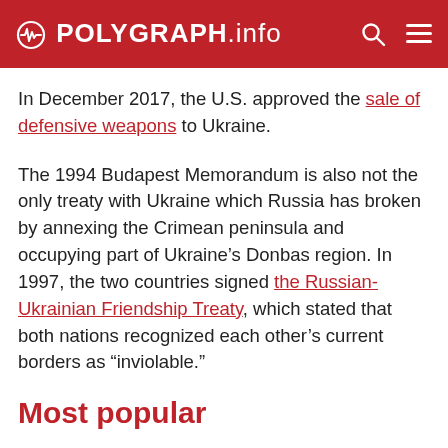POLYGRAPH.info
In December 2017, the U.S. approved the sale of defensive weapons to Ukraine.
The 1994 Budapest Memorandum is also not the only treaty with Ukraine which Russia has broken by annexing the Crimean peninsula and occupying part of Ukraine’s Donbas region. In 1997, the two countries signed the Russian-Ukrainian Friendship Treaty, which stated that both nations recognized each other’s current borders as “inviolable.”
Most popular